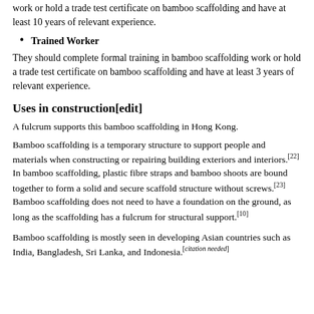work or hold a trade test certificate on bamboo scaffolding and have at least 10 years of relevant experience.
Trained Worker
They should complete formal training in bamboo scaffolding work or hold a trade test certificate on bamboo scaffolding and have at least 3 years of relevant experience.
Uses in construction[edit]
A fulcrum supports this bamboo scaffolding in Hong Kong.
Bamboo scaffolding is a temporary structure to support people and materials when constructing or repairing building exteriors and interiors.[22] In bamboo scaffolding, plastic fibre straps and bamboo shoots are bound together to form a solid and secure scaffold structure without screws.[23] Bamboo scaffolding does not need to have a foundation on the ground, as long as the scaffolding has a fulcrum for structural support.[10]
Bamboo scaffolding is mostly seen in developing Asian countries such as India, Bangladesh, Sri Lanka, and Indonesia.[citation needed]